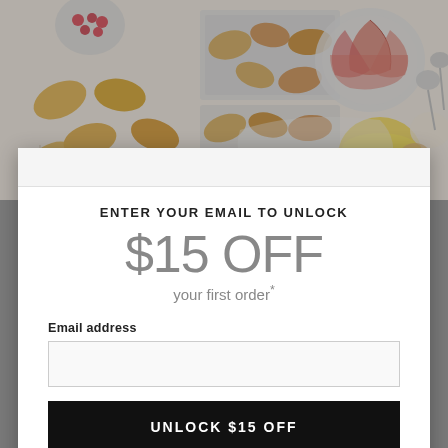[Figure (photo): Overhead flat lay photo of croissants on baking sheets and cooling rack, a bowl of sliced apples, a pitcher of yellow liquid (juice or custard), small bowls with cranberries and cream, and measuring spoons on a light surface.]
ENTER YOUR EMAIL TO UNLOCK
$15 OFF
your first order*
Email address
UNLOCK $15 OFF
Decline Offer